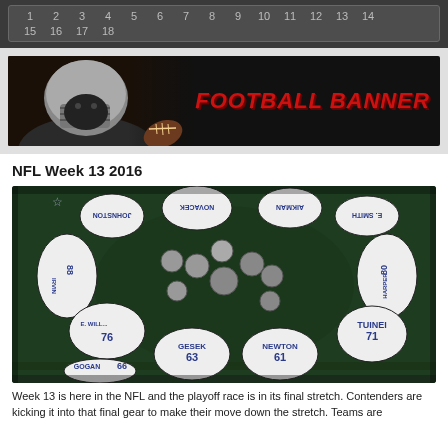1 2 3 4 5 6 7 8 9 10 11 12 13 14 15 16 17 18
[Figure (photo): Football banner with player in helmet on left, text FOOTBALL BANNER on right in red italic font on black background]
NFL Week 13 2016
[Figure (photo): Overhead aerial view of Dallas Cowboys players in a huddle, wearing white jerseys with blue numbers. Players visible include GOGAN 66, GESEK 63, NEWTON 61, TUINEI 71, E.WILLIAMS 76, IRVIN 88, HARPER 80, E.SMITH, AIKMAN, NOVACEK, JOHNSTON]
Week 13 is here in the NFL and the playoff race is in its final stretch. Contenders are kicking it into that final gear to make their move down the stretch. Teams are